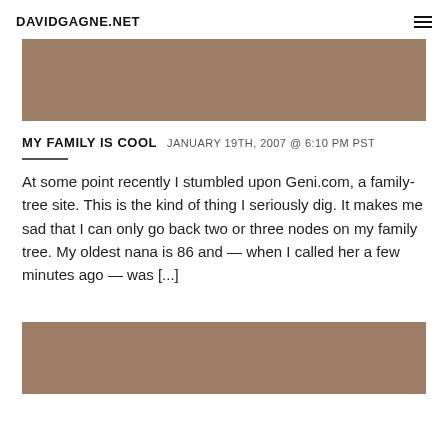DAVIDGAGNE.NET
[Figure (photo): Brown/tan colored image block at top of page]
MY FAMILY IS COOL  JANUARY 19TH, 2007 @ 6:10 PM PST
At some point recently I stumbled upon Geni.com, a family-tree site. This is the kind of thing I seriously dig. It makes me sad that I can only go back two or three nodes on my family tree. My oldest nana is 86 and — when I called her a few minutes ago — was [...]
[Figure (photo): Brown/tan colored image block at bottom of page]